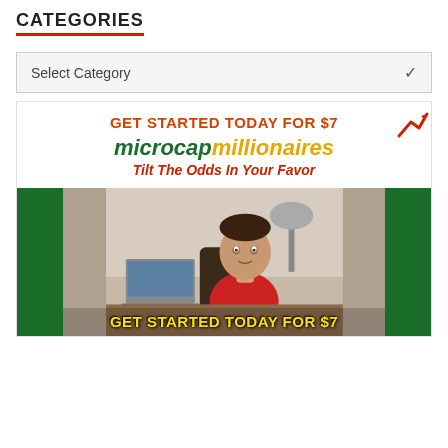CATEGORIES
Select Category
[Figure (illustration): Advertisement for Microcap Millionaires with headline 'GET STARTED TODAY FOR $7', logo with green 'microcap' and yellow 'millionaires' text, tagline 'Tilt The Odds In Your Favor', photo of a young man in a red shirt at a desk with a laptop, and bottom banner 'GET STARTED TODAY FOR $7' in yellow text on green background.]